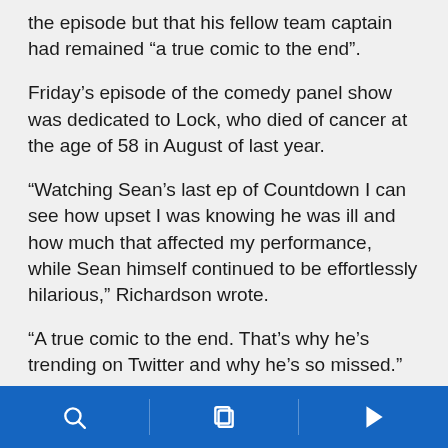the episode but that his fellow team captain had remained “a true comic to the end”.
Friday’s episode of the comedy panel show was dedicated to Lock, who died of cancer at the age of 58 in August of last year.
“Watching Sean’s last ep of Countdown I can see how upset I was knowing he was ill and how much that affected my performance, while Sean himself continued to be effortlessly hilarious,” Richardson wrote.
“A true comic to the end. That’s why he’s trending on Twitter and why he’s so missed.”
Panellist Rosie Jones, who also featured in the
[navigation bar]